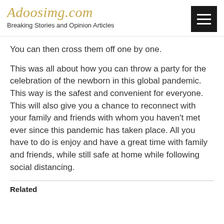Adoosimg.com
Breaking Stories and Opinion Articles
You can then cross them off one by one.
This was all about how you can throw a party for the celebration of the newborn in this global pandemic. This way is the safest and convenient for everyone. This will also give you a chance to reconnect with your family and friends with whom you haven't met ever since this pandemic has taken place. All you have to do is enjoy and have a great time with family and friends, while still safe at home while following social distancing.
Related